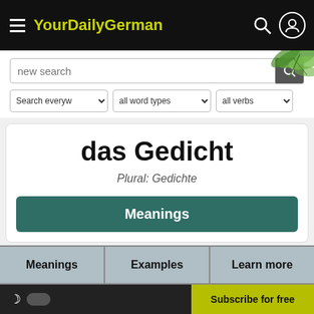YourDailyGerman
new search
Search everyw ▾   all word types ▾   all verbs ▾
das Gedicht
Plural: Gedichte
Meanings
Meanings   Examples   Learn more
Word Family   Comments
Subscribe for free